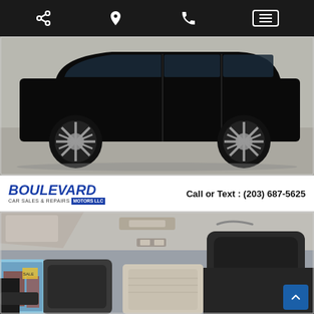[Figure (screenshot): Mobile app navigation bar with share icon, location pin icon, phone icon, and hamburger menu button on dark background]
[Figure (photo): Side profile of a black SUV on a dealer lot showing both front and rear wheels with alloy rims on a concrete surface]
BOULEVARD CAR SALES & REPAIRS MOTORS LLC   Call or Text : (203) 687-5625
[Figure (photo): Interior view of a vehicle showing beige/gray fabric front seats, headrests, overhead console, and sun visor, with a dealership visible through the window]